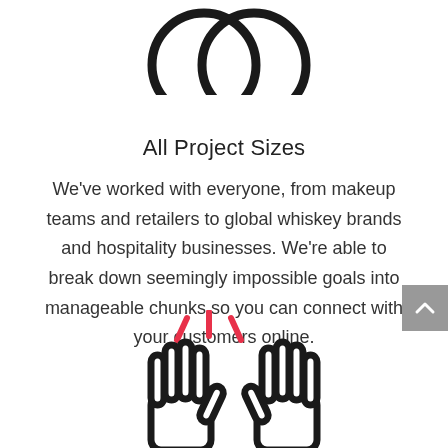[Figure (illustration): Two overlapping circles/rings icon (coins or glasses) drawn in bold black outline style]
All Project Sizes
We've worked with everyone, from makeup teams and retailers to global whiskey brands and hospitality businesses. We're able to break down seemingly impossible goals into manageable chunks so you can connect with your customers online.
[Figure (illustration): Two hands giving a high five with red motion lines above, drawn in bold black outline style]